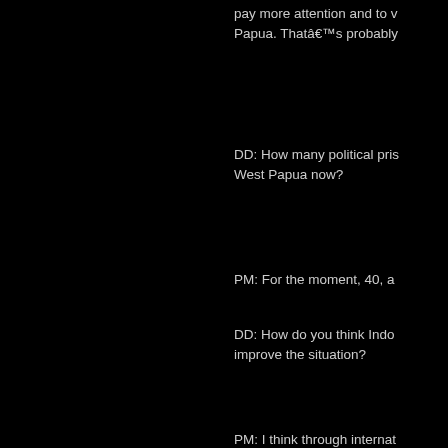Australia and New Zealand... pay more attention and to w... Papua. Thatâ€™s probably...
DD: How many political pris... West Papua now?
PM: For the moment, 40, a...
DD: How do you think Indo... improve the situation?
PM: I think through internat... way, because itâ€™s in the... Western countries. I think h... Zealand play important role... rights. And for Indonesia, I... remind Indonesia of its obli... rights and the rights to live,... of expression in West Papu... Because what ordinary We... demonstrations, in enforcin...